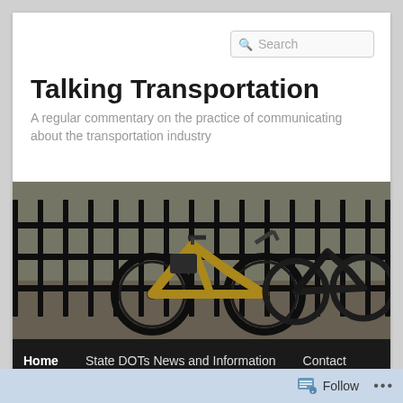Search
Talking Transportation
A regular commentary on the practice of communicating about the transportation industry
[Figure (photo): Two bicycles locked to a black metal fence outdoors, one yellow road bike in the foreground]
Home
State DOTs News and Information
Contact
About
Follow ...